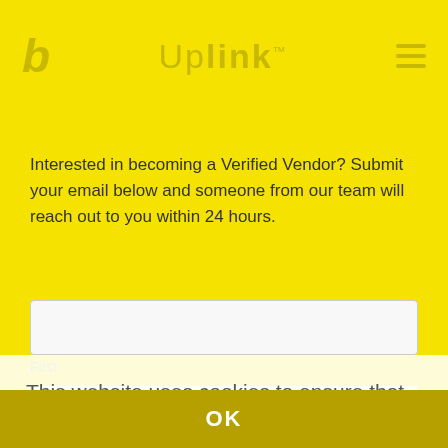Uplink
Interested in becoming a Verified Vendor? Submit your email below and someone from our team will reach out to you within 24 hours.
[Figure (screenshot): Web form with First name input field and password field with four circular dot placeholders, overlaid by a cookie consent banner reading: This website uses cookies to ensure that you get the best experience. By continuing to browse the site you are agreeing to our use of cookies. Learn More, with an OK button at the bottom.]